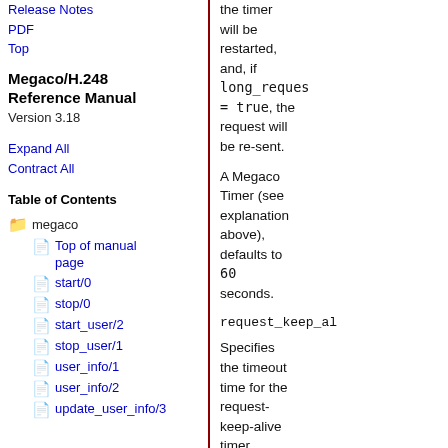Release Notes
PDF
Top
Megaco/H.248 Reference Manual
Version 3.18
Expand All
Contract All
Table of Contents
megaco
Top of manual page
start/0
stop/0
start_user/2
stop_user/1
user_info/1
user_info/2
update_user_info/3
the timer will be restarted, and, if long_request = true, the request will be re-sent.
A Megaco Timer (see explanation above), defaults to 60 seconds.
request_keep_al
Specifies the timeout time for the request-keep-alive timer.